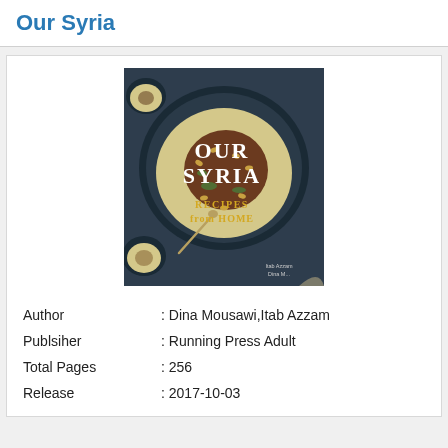Our Syria
[Figure (photo): Book cover of 'Our Syria: Recipes from Home' showing a large round dish with rice and meat garnished with nuts, with two smaller bowls on the sides, authors Itab Azzam and Dina Mousawi]
Author : Dina Mousawi,Itab Azzam
Publsiher : Running Press Adult
Total Pages : 256
Release : 2017-10-03